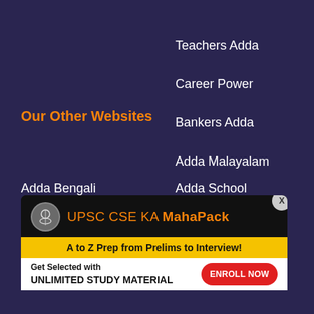Teachers Adda
Our Other Websites
Career Power
Bankers Adda
Adda Malayalam
Adda Jobs
Current Affairs
Adda Tamil
SSC Adda
Adda Odia
Defence Adda
Adda Telgu
Sarkari Results
Adda Bengali
Adda School
Engin...
Adda...
[Figure (infographic): UPSC CSE KA MahaPack promotional banner with logo, subtitle 'A to Z Prep from Prelims to Interview!', and 'Get Selected with UNLIMITED STUDY MATERIAL' with ENROLL NOW button]